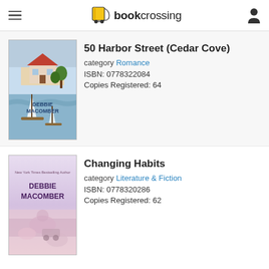bookcrossing
[Figure (illustration): Book cover for '50 Harbor Street (Cedar Cove)' by Debbie Macomber, showing a house, water, and sailboats]
50 Harbor Street (Cedar Cove)
category Romance
ISBN: 0778322084
Copies Registered: 64
[Figure (illustration): Book cover for 'Changing Habits' by Debbie Macomber, showing a figure and soft pastel colors]
Changing Habits
category Literature & Fiction
ISBN: 0778320286
Copies Registered: 62